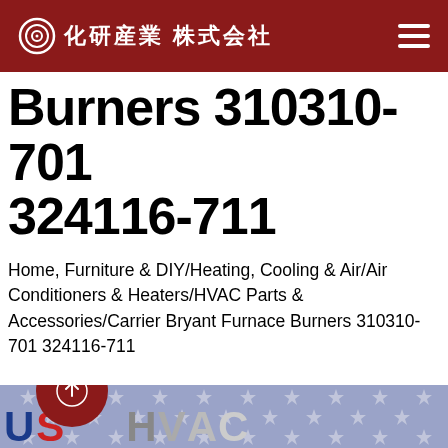化研産業 株式会社
Burners 310310-701 324116-711
Home, Furniture & DIY/Heating, Cooling & Air/Air Conditioners & Heaters/HVAC Parts & Accessories/Carrier Bryant Furnace Burners 310310-701 324116-711
[Figure (photo): Product image with blue/lavender star-patterned background and US HVAC branding text visible at the bottom, with metallic furnace burner parts. A dark red circular scroll-up button overlays the image.]